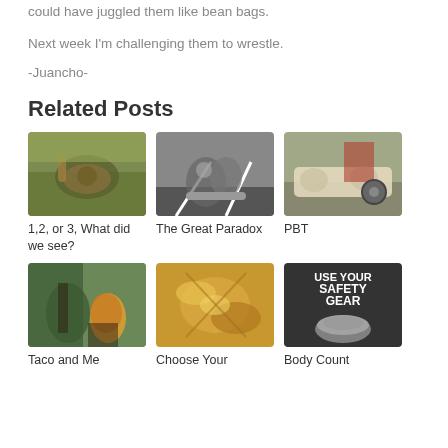could have juggled them like bean bags.
Next week I'm challenging them to wrestle.
-Juancho-
Related Posts
[Figure (photo): Close-up of a snake or reptile in grass]
1,2, or 3, What did we see?
[Figure (photo): Black and white photo of cyclist hands on handlebars]
The Great Paradox
[Figure (photo): People relaxing on a couch near a bicycle in a garage]
PBT
[Figure (photo): Mountain biker selfie with another rider in background]
Taco and Me
[Figure (photo): Close-up of golden flower or plant]
Choose Your
[Figure (photo): USE YOUR SAFETY GEAR poster with hard hat]
Body Count